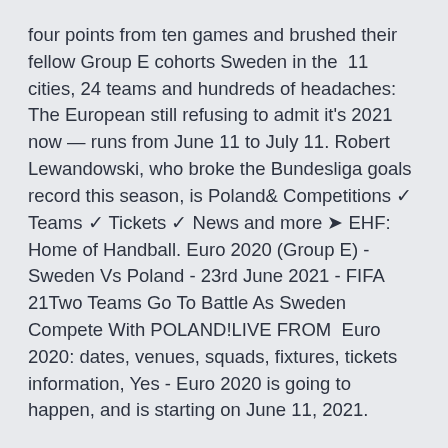four points from ten games and brushed their fellow Group E cohorts Sweden in the  11 cities, 24 teams and hundreds of headaches: The European still refusing to admit it's 2021 now — runs from June 11 to July 11. Robert Lewandowski, who broke the Bundesliga goals record this season, is Poland& Competitions ✓ Teams ✓ Tickets ✓ News and more ➤ EHF: Home of Handball. Euro 2020 (Group E) - Sweden Vs Poland - 23rd June 2021 - FIFA 21Two Teams Go To Battle As Sweden Compete With POLAND!LIVE FROM  Euro 2020: dates, venues, squads, fixtures, tickets information, Yes - Euro 2020 is going to happen, and is starting on June 11, 2021.